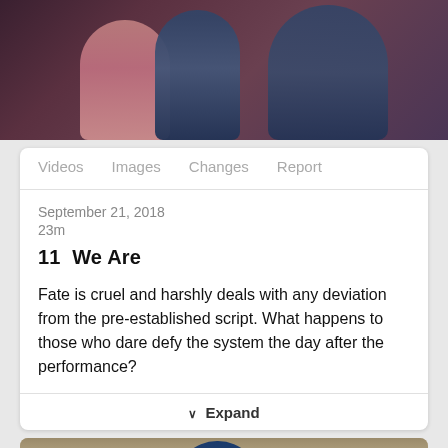[Figure (illustration): Anime screenshot showing two characters, one in pink and one in dark blue school uniform, partially visible cropped from top]
Videos
Images
Changes
Report
September 21, 2018
23m
11  We Are
Fate is cruel and harshly deals with any deviation from the pre-established script. What happens to those who dare defy the system the day after the performance?
∨ Expand
[Figure (illustration): Anime screenshot showing two characters, one with blue hair and one with red/pink hair, in what appears to be a school store or library interior]